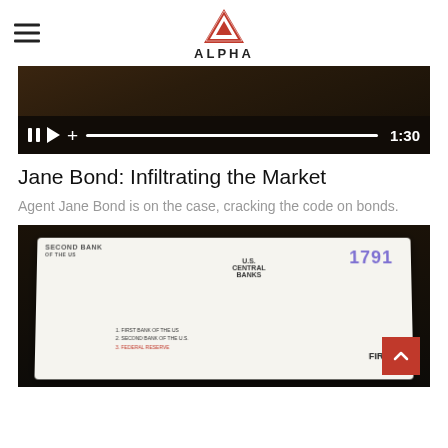ALPHA
[Figure (screenshot): Video player showing a paused video with playback controls (pause button, play button, volume/add button), a white progress bar, and timestamp 1:30 on dark background]
Jane Bond: Infiltrating the Market
Agent Jane Bond is on the case, cracking the code on bonds.
[Figure (photo): A hand drawing on a whiteboard/tablet showing illustrations of U.S. Central Banks, Second Bank of the US, the year 1791, and First Bank historical information with cartoon-style drawings]